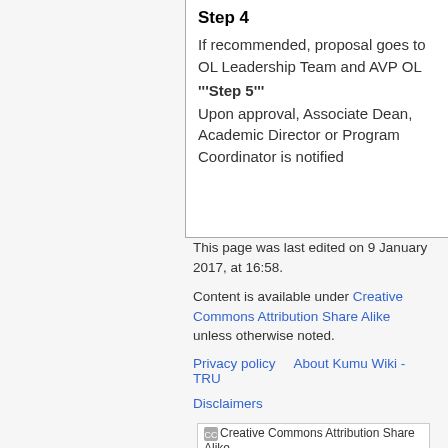Step 4
If recommended, proposal goes to OL Leadership Team and AVP OL
'''Step 5'''
Upon approval, Associate Dean, Academic Director or Program Coordinator is notified
This page was last edited on 9 January 2017, at 16:58.
Content is available under Creative Commons Attribution Share Alike unless otherwise noted.
Privacy policy    About Kumu Wiki - TRU
Disclaimers
[Figure (logo): Creative Commons Attribution Share Alike badge]
[Figure (logo): Powered by MediaWiki badge with sunflower icon]